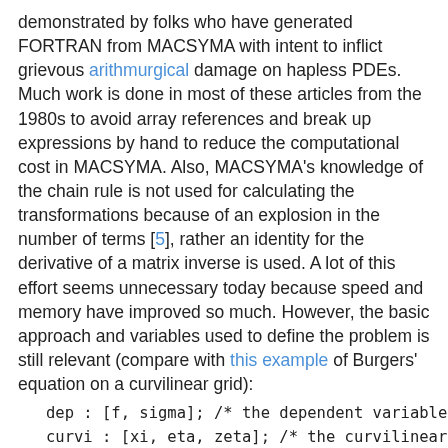demonstrated by folks who have generated FORTRAN from MACSYMA with intent to inflict grievous arithmurgical damage on hapless PDEs. Much work is done in most of these articles from the 1980s to avoid array references and break up expressions by hand to reduce the computational cost in MACSYMA. Also, MACSYMA's knowledge of the chain rule is not used for calculating the transformations because of an explosion in the number of terms [5], rather an identity for the derivative of a matrix inverse is used. A lot of this effort seems unnecessary today because speed and memory have improved so much. However, the basic approach and variables used to define the problem is still relevant (compare with this example of Burgers' equation on a curvilinear grid):
dep : [f, sigma]; /* the dependent variables */
curvi : [xi, eta, zeta]; /* the curvilinear coordinates */
indep : [x, y, z]; /* the independent variables */
depends(curvi, indep);
depends(dep, curvi);
nn : length(indep);
eqn : sum(diff(sigma * diff(f, indep[i]), indep[i]), i, 1, nn);